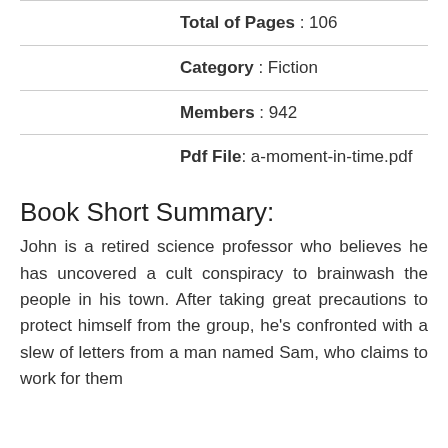Total of Pages : 106
Category : Fiction
Members : 942
Pdf File: a-moment-in-time.pdf
Book Short Summary:
John is a retired science professor who believes he has uncovered a cult conspiracy to brainwash the people in his town. After taking great precautions to protect himself from the group, he's confronted with a slew of letters from a man named Sam, who claims to work for them